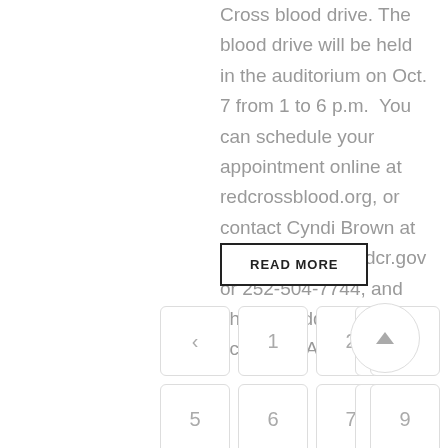Cross blood drive. The blood drive will be held in the auditorium on Oct. 7 from 1 to 6 p.m.  You can schedule your appointment online at redcrossblood.org, or contact Cyndi Brown at Cyndi.brown@ncdcr.gov or 252-504-7744, and she can add you to the schedule. As always,...
READ MORE
< 1 2 3 4 5 6 7 8 9